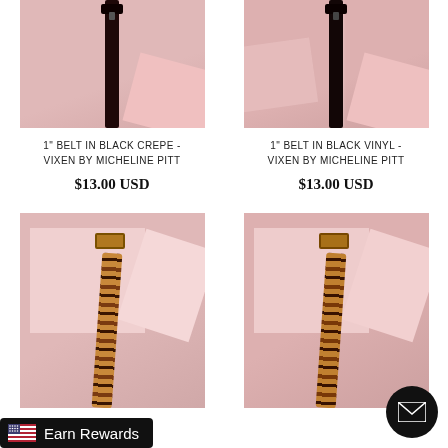[Figure (photo): Product photo of a 1-inch black crepe belt displayed vertically against a pink background with pink paper shapes]
[Figure (photo): Product photo of a 1-inch black vinyl belt displayed vertically against a pink background with pink paper shapes]
1" BELT IN BLACK CREPE - VIXEN BY MICHELINE PITT
1" BELT IN BLACK VINYL - VIXEN BY MICHELINE PITT
$13.00 USD
$13.00 USD
[Figure (photo): Product photo of a leopard print belt displayed diagonally against a pink background with pink paper shapes]
[Figure (photo): Product photo of a leopard print belt displayed diagonally against a pink background with pink paper shapes]
Earn Rewards